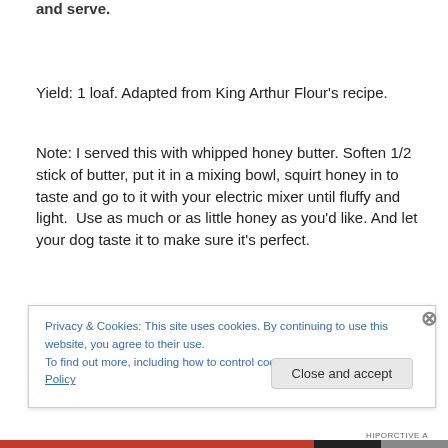and serve.
Yield: 1 loaf. Adapted from King Arthur Flour's recipe.
Note: I served this with whipped honey butter. Soften 1/2 stick of butter, put it in a mixing bowl, squirt honey in to taste and go to it with your electric mixer until fluffy and light.  Use as much or as little honey as you'd like. And let your dog taste it to make sure it's perfect.
Privacy & Cookies: This site uses cookies. By continuing to use this website, you agree to their use.
To find out more, including how to control cookies, see here: Cookie Policy